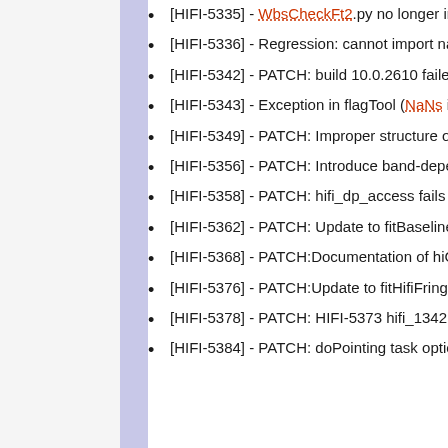[HIFI-5335] - WbsCheckFt2.py no longer imports 'DoWbsDarkTask'
[HIFI-5336] - Regression: cannot import name HrsCheckFtTask (QSFT analysis script)
[HIFI-5342] - PATCH: build 10.0.2610 failed
[HIFI-5343] - Exception in flagTool (NaNs in spectrum ?)
[HIFI-5349] - PATCH: Improper structure of caltree for purity QC flag
[HIFI-5356] - PATCH: Introduce band-dependent defaults FitHifiFringe
[HIFI-5358] - PATCH: hifi_dp_access fails to run test harnesses with java 7
[HIFI-5362] - PATCH: Update to fitBaseline chapter - documentation
[HIFI-5368] - PATCH:Documentation of hiClass describes keywords that no longer exist
[HIFI-5376] - PATCH:Update to fitHifiFringe and Quality Flags chapters - documentation
[HIFI-5378] - PATCH: HIFI-5373 hifi_1342177774 and hifi_1342177775 tests cases failed in the AT
[HIFI-5384] - PATCH: doPointing task option to use